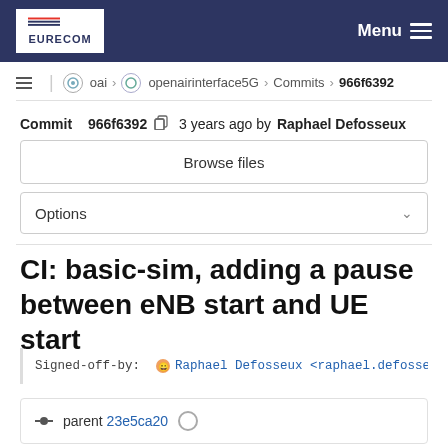EURECOM | Menu
oai > openairinterface5G > Commits > 966f6392
Commit 966f6392  3 years ago by Raphael Defosseux
Browse files
Options
CI: basic-sim, adding a pause between eNB start and UE start
Signed-off-by:  Raphael Defosseux <raphael.defosse
parent 23e5ca20